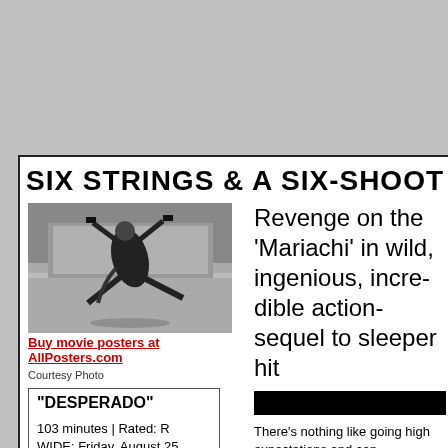SIX STRINGS & A SIX-SHOOT
[Figure (photo): Black and white photo of a man in a suit leaping over a car while holding two guns, styled like an action film still from Desperado]
Buy movie posters at AllPosters.com
Courtesy Photo
| "DESPERADO" |
| 103 minutes | Rated: R
WIDE: Friday, August 25, 1995 |
| Written & directed by Robert Rodriguez |
| Starring Antonio Banderas, Salma Hayek, |
Revenge on the 'Mariachi' in wild, ingenious, incredible action-sequel to sleeper hit
There's nothing like going high expectations and con
Robert Rodriguez, the 27- the sleeper action hit "El M Hollywood beating down little $7,000 movie made year. Columbia Pictures g (still a tiny sum for an ac